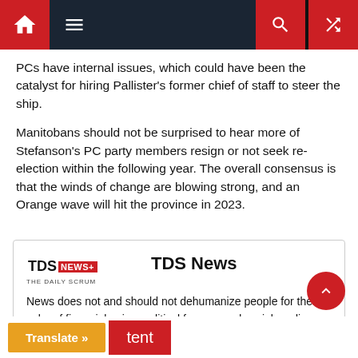[Figure (screenshot): Website navigation bar with home icon (red background), hamburger menu, search icon (red background), divider, and random/shuffle icon (red background) on dark navy background]
PCs have internal issues, which could have been the catalyst for hiring Pallister's former chief of staff to steer the ship.
Manitobans should not be surprised to hear more of Stefanson's PC party members resign or not seek re-election within the following year. The overall consensus is that the winds of change are blowing strong, and an Orange wave will hit the province in 2023.
[Figure (logo): TDS News - The Daily Scrum logo]
TDS News
News does not and should not dehumanize people for the sake of financial gains, political favours and social media clout.
[Figure (screenshot): Bottom bar with orange Translate button and red content tab, plus red scroll-to-top circular button]